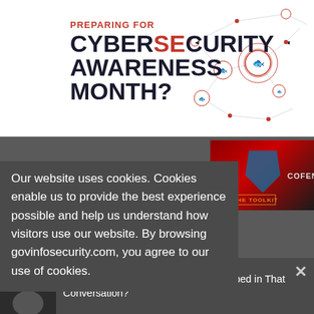[Figure (infographic): Cybersecurity awareness month banner with network/phishing graphic showing connected nodes and fish icons on white background]
PREPARING FOR CYBERSECURITY AWARENESS MONTH?
[Figure (infographic): GET THE TOOLKIT button with Cofense shield logo on dark red/black background]
Our website uses cookies. Cookies enable us to provide the best experience possible and help us understand how visitors use our website. By browsing govinfosecurity.com, you agree to our use of cookies.
×
RESOURCES
[Figure (photo): Thumbnail of a person for webinar article]
Live Webinar | BEC: Did You Get Trapped in That Conversation?